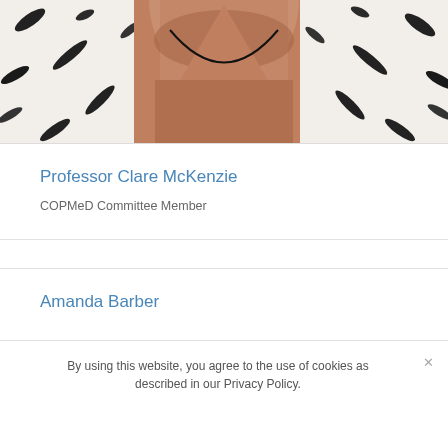[Figure (photo): Close-up photo of a person's neck and upper chest wearing a floral/patterned white-black top and a thin dark necklace, with tanned skin visible]
Professor Clare McKenzie
COPMeD Committee Member
Amanda Barber
By using this website, you agree to the use of cookies as described in our Privacy Policy.